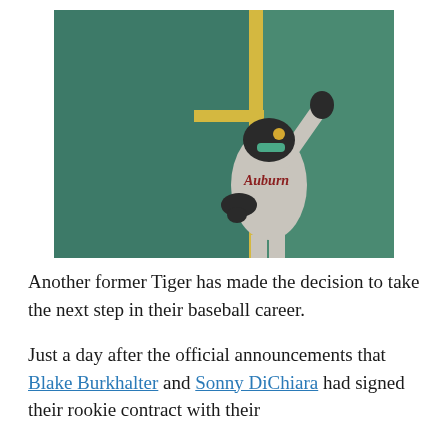[Figure (photo): Auburn baseball player in gray Auburn uniform, wearing helmet and batting gloves, pointing upward with right hand after a hit. Background shows a green wall with yellow foul pole. Sunny day game conditions.]
Another former Tiger has made the decision to take the next step in their baseball career.
Just a day after the official announcements that Blake Burkhalter and Sonny DiChiara had signed their rookie contract with their